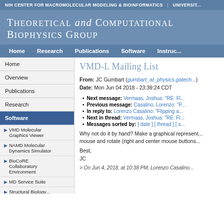NIH CENTER FOR MACROMOLECULAR MODELING & BIOINFORMATICS | UNIVERSIT...
Theoretical and Computational Biophysics Group
Home | Research | Publications | Software | Instruc...
Home
Overview
Publications
Research
Software
VMD Molecular Graphics Viewer
NAMD Molecular Dynamics Simulator
BioCoRE Collaboratory Environment
MD Service Suite
Structural Biology
VMD-L Mailing List
From: JC Gumbart (gumbart_at_physics.gatech...
Date: Mon Jun 04 2018 - 23:39:24 CDT
Next message: Vermaas, Joshua: "RE: Fl...
Previous message: Casalino, Lorenzo: "P...
In reply to: Lorenzo Casalino: "Flipping a...
Next in thread: Vermaas, Joshua: "RE: Fl...
Messages sorted by: [ date ] [ thread ] [ s...
Why not do it by hand? Make a graphical represent... mouse and rotate (right and center mouse buttons...
Best,
JC
> On Jun 4, 2018, at 10:38 PM, Lorenzo Casalino...